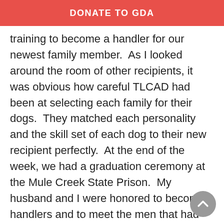DONATE TO GDA
training to become a handler for our newest family member.  As I looked around the room of other recipients, it was obvious how careful TLCAD had been at selecting each family for their dogs.  They matched each personality and the skill set of each dog to their new recipient perfectly.  At the end of the week, we had a graduation ceremony at the Mule Creek State Prison.  My husband and I were honored to become handlers and to meet the men that had put so much training into this remarkable animal.  We felt the positive impact that it had on them and how proud they were to give back to the community.